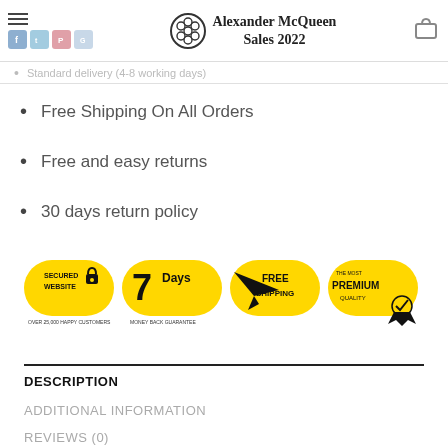Alexander McQueen Sales 2022
Standard delivery (4-8 working days)
Free Shipping On All Orders
Free and easy returns
30 days return policy
[Figure (infographic): Trust badge banner with four badges: Secured Website (over 25,000 happy customers), 7 Days Money Back Guarantee, Free Shipping, The Most Premium Quality]
DESCRIPTION
ADDITIONAL INFORMATION
REVIEWS (0)